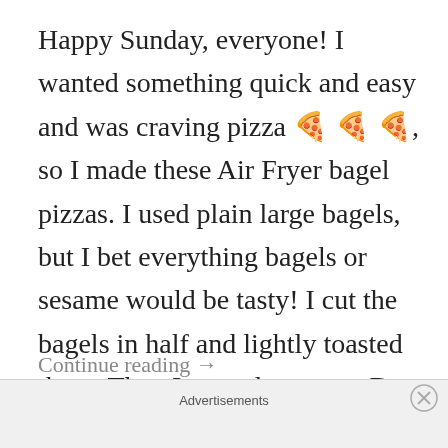Happy Sunday, everyone! I wanted something quick and easy and was craving pizza 🍕🍕🍕, so I made these Air Fryer bagel pizzas. I used plain large bagels, but I bet everything bagels or sesame would be tasty! I cut the bagels in half and lightly toasted them. Then I spread on some Don Peppino's pizza ...
Continue reading →
Advertisements